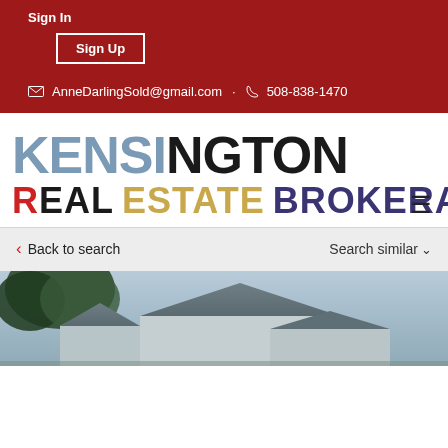Sign In
Sign Up
AnneDarlingSold@gmail.com · 508-838-1470
KENSINGTON REAL ESTATE BROKERAGE
Back to search
Search similar
[Figure (photo): Exterior photo of a house with gray roof and siding, with a tree in the foreground against a cloudy sky]